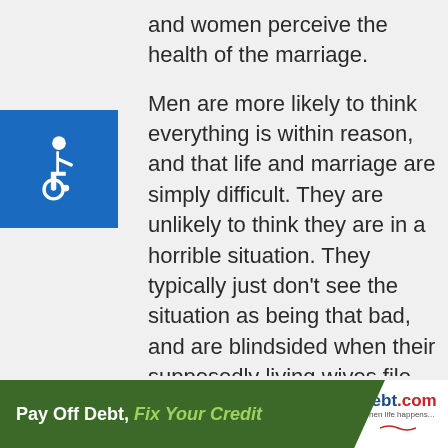and women perceive the health of the marriage.
[Figure (illustration): Blue accessibility wheelchair icon on a blue square background, positioned on the left side of the page]
Men are more likely to think everything is within reason, and that life and marriage are simply difficult. They are unlikely to think they are in a horrible situation. They typically just don't see the situation as being that bad, and are blindsided when their supposedly living wives file and start litigating. It has basically nothing to do with being
[Figure (infographic): Green diagonal banner advertisement reading 'Pay Off Debt, Fix Your Credit' with Debt.com logo on the right]